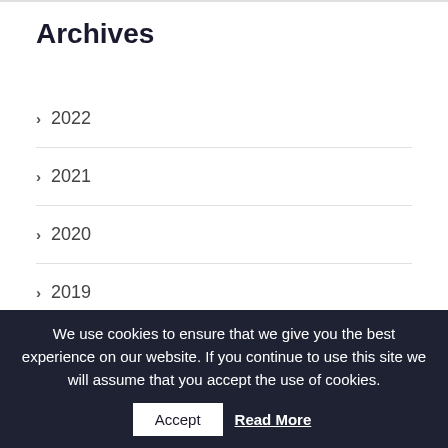Archives
> 2022
> 2021
> 2020
> 2019
> 2018
A-level Results Day 2022
We use cookies to ensure that we give you the best experience on our website. If you continue to use this site we will assume that you accept the use of cookies.